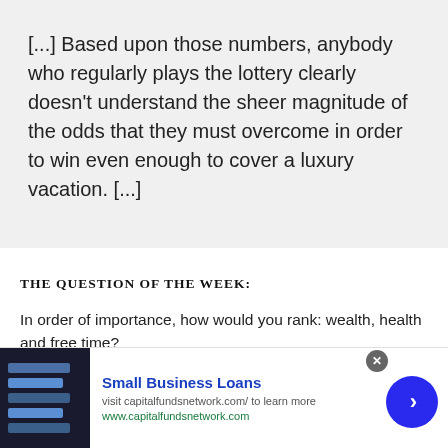[...] Based upon those numbers, anybody who regularly plays the lottery clearly doesn't understand the sheer magnitude of the odds that they must overcome in order to win even enough to cover a luxury vacation. [...]
THE QUESTION OF THE WEEK:
In order of importance, how would you rank: wealth, health and free time?
[Figure (infographic): Advertisement banner for Small Business Loans from capitalfundsnetwork.com with a dark blue image of UI elements on left, bold blue title, gray subtitle text, green URL, a close button, and a blue circular arrow button.]